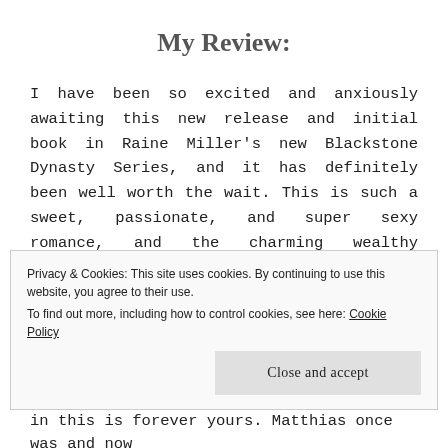My Review:
I have been so excited and anxiously awaiting this new release and initial book in Raine Miller's new Blackstone Dynasty Series, and it has definitely been well worth the wait. This is such a sweet, passionate, and super sexy romance, and the charming wealthy billionaire Caleb Blackstone is impossible not to fall in love with!
Caleb Blackstone has everything any man could ever...
Privacy & Cookies: This site uses cookies. By continuing to use this website, you agree to their use.
To find out more, including how to control cookies, see here: Cookie Policy
Close and accept
in this is forever yours. Matthias once was and now...